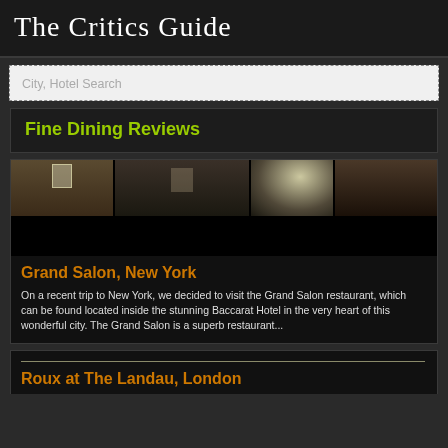The Critics Guide
City, Hotel Search
Fine Dining Reviews
[Figure (photo): Interior of Grand Salon restaurant at Baccarat Hotel, New York – elegant dining room with chandeliers and glassware]
Grand Salon, New York
On a recent trip to New York, we decided to visit the Grand Salon restaurant, which can be found located inside the stunning Baccarat Hotel in the very heart of this wonderful city. The Grand Salon is a superb restaurant...
Roux at The Landau, London